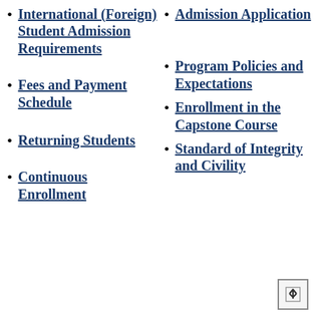International (Foreign) Student Admission Requirements
Admission Application
Fees and Payment Schedule
Program Policies and Expectations
Returning Students
Enrollment in the Capstone Course
Continuous Enrollment
Standard of Integrity and Civility